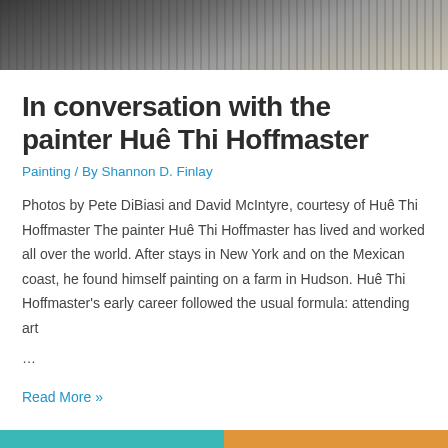[Figure (photo): Close-up photo of a person working with clay or sculpture materials in a studio setting, with boxes visible in the background.]
In conversation with the painter Huê Thi Hoffmaster
Painting / By Shannon D. Finlay
Photos by Pete DiBiasi and David McIntyre, courtesy of Huê Thi Hoffmaster The painter Huê Thi Hoffmaster has lived and worked all over the world. After stays in New York and on the Mexican coast, he found himself painting on a farm in Hudson. Huê Thi Hoffmaster's early career followed the usual formula: attending art
…
Read More »